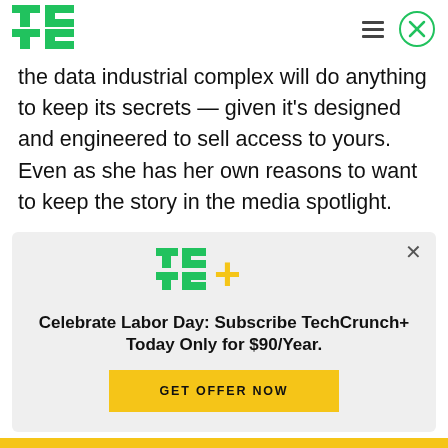[Figure (logo): TechCrunch TC green logo in header]
the data industrial complex will do anything to keep its secrets — given it's designed and engineered to sell access to yours. Even as she has her own reasons to want to keep the story in the media spotlight.
Platforms whose profiteering purpose is to track and target people at global scale — which function
[Figure (logo): TC+ TechCrunch Plus logo in green and gold]
Celebrate Labor Day: Subscribe TechCrunch+ Today Only for $90/Year.
GET OFFER NOW